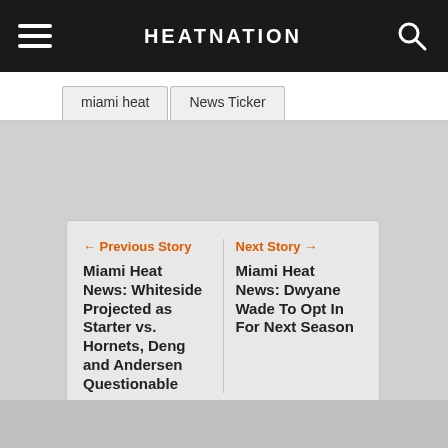HEATNATION
miami heat   News Ticker
← Previous Story
Miami Heat News: Whiteside Projected as Starter vs. Hornets, Deng and Andersen Questionable
Next Story →
Miami Heat News: Dwyane Wade To Opt In For Next Season